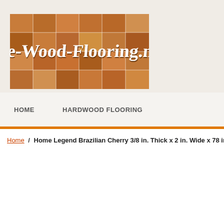[Figure (logo): The-Wood-Flooring.net logo with wood tile mosaic background and cursive white script text]
HOME   HARDWOOD FLOORING
Home / Home Legend Brazilian Cherry 3/8 in. Thick x 2 in. Wide x 78 in. Len…